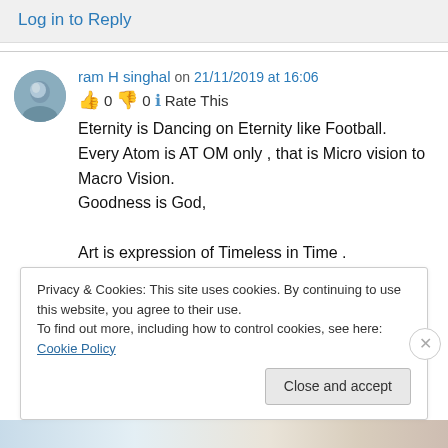Log in to Reply
ram H singhal on 21/11/2019 at 16:06
👍 0 👎 0 ℹ Rate This
Eternity is Dancing on Eternity like Football.
Every Atom is AT OM only , that is Micro vision to Macro Vision.
Goodness is God,
Art is expression of Timeless in Time .
Privacy & Cookies: This site uses cookies. By continuing to use this website, you agree to their use.
To find out more, including how to control cookies, see here: Cookie Policy
Close and accept